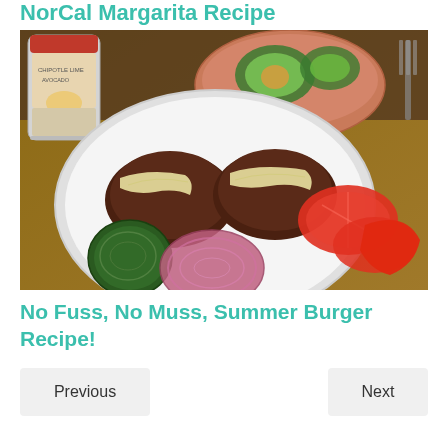NorCal Margarita Recipe
[Figure (photo): Photo of a plate with two burger patties topped with melted cheese, surrounded by sliced tomatoes, red onion, jalapeño, and a bowl of soup with avocado in the background, along with a jar of chipotle lime paste.]
No Fuss, No Muss, Summer Burger Recipe!
Previous
Next